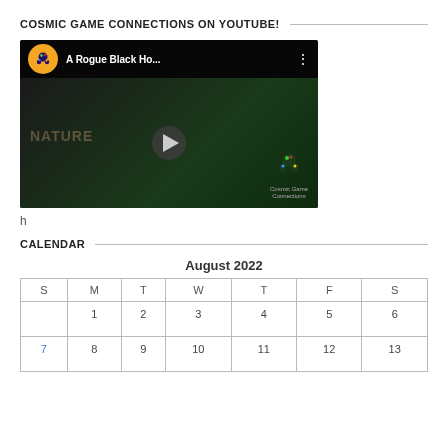COSMIC GAME CONNECTIONS ON YOUTUBE!
[Figure (screenshot): YouTube video thumbnail for 'A Rogue Black Ho...' by Cosmic Game Connections channel, showing a dark background with game boxes and the channel logo, with a play button in the center.]
h
CALENDAR
August 2022
| S | M | T | W | T | F | S |
| --- | --- | --- | --- | --- | --- | --- |
|  | 1 | 2 | 3 | 4 | 5 | 6 |
| 7 | 8 | 9 | 10 | 11 | 12 | 13 |